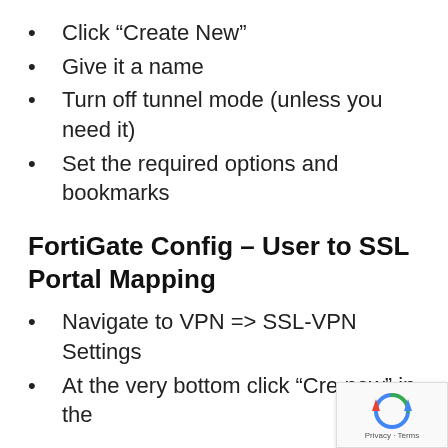Click “Create New”
Give it a name
Turn off tunnel mode (unless you need it)
Set the required options and bookmarks
FortiGate Config – User to SSL Portal Mapping
Navigate to VPN => SSL-VPN Settings
At the very bottom click “Cre new” in the